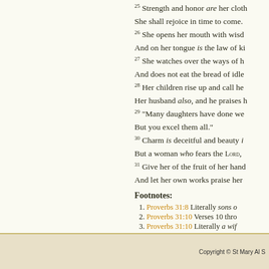25 Strength and honor are her clothing; She shall rejoice in time to come. 26 She opens her mouth with wisdom, And on her tongue is the law of kindness. 27 She watches over the ways of her household, And does not eat the bread of idleness. 28 Her children rise up and call her blessed; Her husband also, and he praises her: 29 "Many daughters have done well, But you excel them all." 30 Charm is deceitful and beauty is passing, But a woman who fears the LORD, she shall be praised. 31 Give her of the fruit of her hands, And let her own works praise her in the gates.
Footnotes:
Proverbs 31:8 Literally sons of
Proverbs 31:10 Verses 10 through
Proverbs 31:10 Literally a wife
Copyright © St Mary Al S